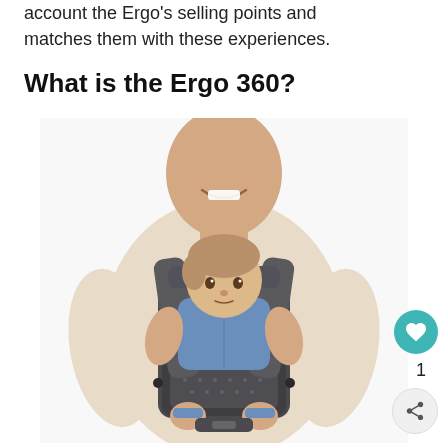account the Ergo's selling points and matches them with these experiences.
What is the Ergo 360?
[Figure (photo): A smiling man carrying a baby/toddler in a dark gray Ergobaby 360 baby carrier. The baby is facing outward, wearing a blue denim outfit. The man is wearing a light beige/cream long-sleeve shirt. The carrier has padded shoulder straps and a structured seat.]